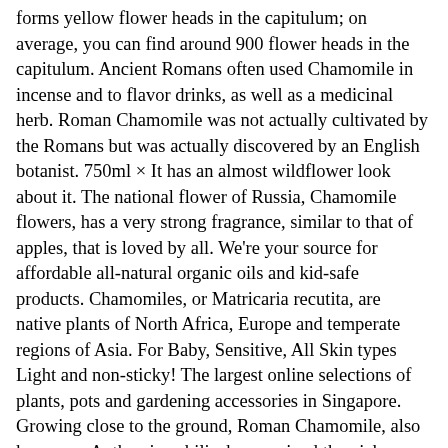forms yellow flower heads in the capitulum; on average, you can find around 900 flower heads in the capitulum. Ancient Romans often used Chamomile in incense and to flavor drinks, as well as a medicinal herb. Roman Chamomile was not actually cultivated by the Romans but was actually discovered by an English botanist. 750ml × It has an almost wildflower look about it. The national flower of Russia, Chamomile flowers, has a very strong fragrance, similar to that of apples, that is loved by all. We're your source for affordable all-natural organic oils and kid-safe products. Chamomiles, or Matricaria recutita, are native plants of North Africa, Europe and temperate regions of Asia. For Baby, Sensitive, All Skin types Light and non-sticky! The largest online selections of plants, pots and gardening accessories in Singapore. Growing close to the ground, Roman Chamomile, also known as Anthemis nobilis, has received the nickname the “plant’s physician” because of its ability to have positive effects on surrounding plants that are growing nearby.With gray-green leaves, daisy-like flowers, and a sweet aroma that resembles an apple, Roman Chamomile produces a unique essential oil. The chamomile plant blooms throughout the summer, and its small golden flowers are collected as soon as they open. The two most popular grown chamomile varieties are Roman chamomile and German chamomile. Taken before bedtime, it can help you sleep easy. It is steam distilled from chamomile flowers and leaves, and its gentle, herbal scent is said to calm and clear the mind. Sow your seeds in late spring or summer to avoid frost. Chamomile can adapt to growing conditions and should be planted in